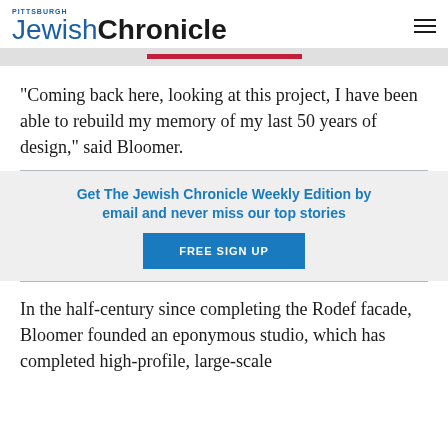Pittsburgh Jewish Chronicle
“Coming back here, looking at this project, I have been able to rebuild my memory of my last 50 years of design,” said Bloomer.
Get The Jewish Chronicle Weekly Edition by email and never miss our top stories
FREE SIGN UP
In the half-century since completing the Rodef facade, Bloomer founded an eponymous studio, which has completed high-profile, large-scale